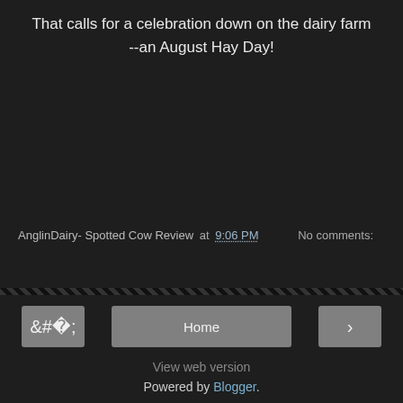That calls for a celebration down on the dairy farm --an August Hay Day!
AnglinDairy- Spotted Cow Review at 9:06 PM    No comments:
Share
Home
View web version
Powered by Blogger.